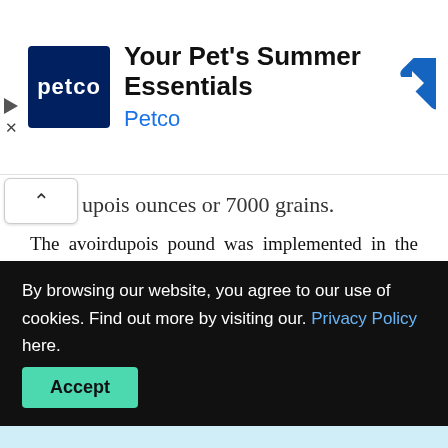[Figure (screenshot): Petco advertisement banner: Petco logo (dark blue square with 'petco' text), headline 'Your Pet's Summer Essentials', brand name 'Petco' in blue, and a blue diamond navigation arrow icon on the right.]
upois ounces or 7000 grains.
The avoirdupois pound was implemented in the Weights and Measures Act 1963. The definition of this unit was placed in first section of this act: “The yard or the metre shall be the unit of measurement of length and the pound or the kilogram shall be the unit of measurement of mass by reference to which any measurement involving a
By browsing our website, you agree to our use of cookies. Find out more by visiting our. Privacy Policy here.
Accept